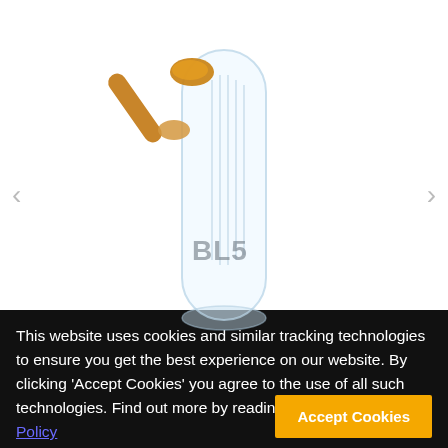[Figure (photo): Close-up product photo of a clear glass water pipe/bong with an amber/brown joint piece and BLB branding etched on the glass. White background.]
[Figure (photo): Two small thumbnail images of the same glass water pipe product: one with amber/gold joint, one with black/dark joint.]
This website uses cookies and similar tracking technologies to ensure you get the best experience on our website. By clicking 'Accept Cookies' you agree to the use of all such technologies. Find out more by reading our Privacy Policy
Accept Cookies